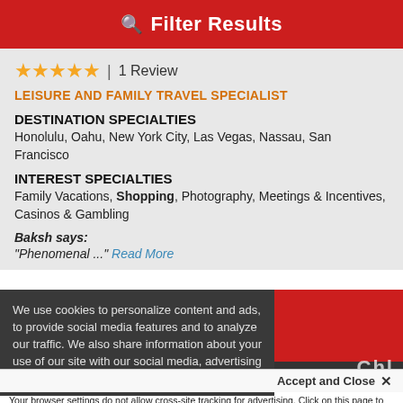Filter Results
★★★★★ | 1 Review
LEISURE AND FAMILY TRAVEL SPECIALIST
DESTINATION SPECIALTIES
Honolulu, Oahu, New York City, Las Vegas, Nassau, San Francisco
INTEREST SPECIALTIES
Family Vacations, Shopping, Photography, Meetings & Incentives, Casinos & Gambling
Baksh says: "Phenomenal ..." Read More
We use cookies to personalize content and ads, to provide social media features and to analyze our traffic. We also share information about your use of our site with our social media, advertising and analytics partners.
Accept and Close ✕
Your browser settings do not allow cross-site tracking for advertising. Click on this page to allow AdRoll to use cross-site tracking to tailor ads to you. Learn more or opt out of this AdRoll tracking by clicking here. This message only appears once.